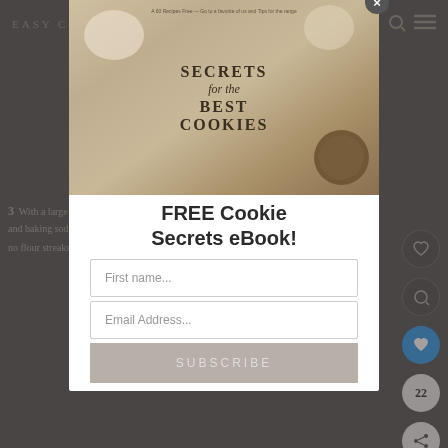EASY COOKIE RECIPES
[Figure (screenshot): Modal popup overlay on a baking/recipe website showing a free cookie secrets ebook promotion. Background shows the Easy Cookie Recipes website header and a recipe step. The modal contains a book cover image reading 'SECRETS for the BEST COOKIES', promotional text 'FREE Cookie Secrets eBook!', input fields for First name and Email Address, and a SUBSCRIBE button. A close (x) button appears in the top right of the modal.]
3  With a large spoon, mix in the flour and baking soda until just combined and no flour streaks remain.
FREE Cookie Secrets eBook!
First name...
Email Address...
SUBSCRIBE